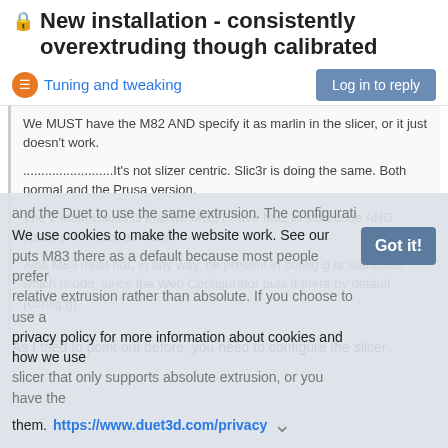🔒 New installation - consistently overextruding though calibrated
Tuning and tweaking
We MUST have the M82 AND specify it as marlin in the slicer, or it just doesn't work.

.........................It's not slizer centric. Slic3r is doing the same. Both normal and the Prusa version.

The 2 main issues is that we MUST have M82 in start code AND specifiy firmware as Marlin.

Also M83 must not, in any way, be present in config.g or startcode, which is odd, since the Web Configurator puts it there by default (config.g).
As I tried to point out before, you need to configure the slicer and the Duet to use the same extrusion. The configuration puts M83 there as a default because most people prefer relative extrusion rather than absolute. If you choose to use a slicer that only supports absolute extrusion, or you have the
We use cookies to make the website work. See our privacy policy for more information about cookies and how we use them.
https://www.duet3d.com/privacy